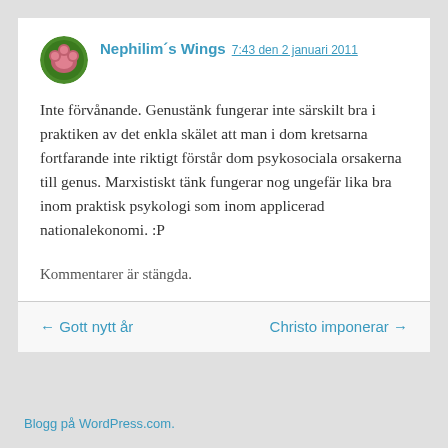Nephilim´s Wings 7:43 den 2 januari 2011
Inte förvånande. Genustänk fungerar inte särskilt bra i praktiken av det enkla skälet att man i dom kretsarna fortfarande inte riktigt förstår dom psykosociala orsakerna till genus. Marxistiskt tänk fungerar nog ungefär lika bra inom praktisk psykologi som inom applicerad nationalekonomi. :P
Kommentarer är stängda.
← Gott nytt år
Christo imponerar →
Blogg på WordPress.com.